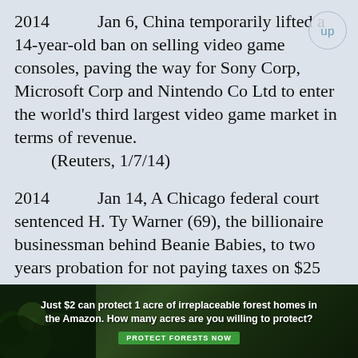2014  Jan 6, China temporarily lifted a 14-year-old ban on selling video game consoles, paving the way for Sony Corp, Microsoft Corp and Nintendo Co Ltd to enter the world's third largest video game market in terms of revenue.
(Reuters, 1/7/14)
2014  Jan 14, A Chicago federal court sentenced H. Ty Warner (69), the billionaire businessman behind Beanie Babies, to two years probation for not paying taxes on $25 million he had hidden.
(SFC, 1/15/14, p.A4)
2014  Mar 18, The Mega Millions jackpot of $414 million, the third largest in the game's history, went to two winners of tickets sold in Florida and Maryland.
(SFC, 3/20/14, p.A6)
2014  Mar 25, King Digital, ticker KING, raised $500 million from the sale of 22.2 million
[Figure (photo): Advertisement banner: dark forest background with text 'Just $2 can protect 1 acre of irreplaceable forest homes in the Amazon. How many acres are you willing to protect?' and a green 'PROTECT FORESTS NOW' button.]